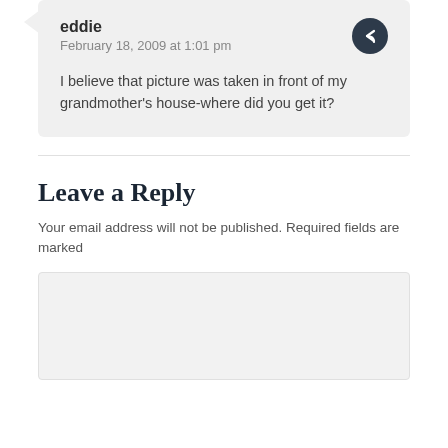eddie
February 18, 2009 at 1:01 pm
I believe that picture was taken in front of my grandmother's house-where did you get it?
Leave a Reply
Your email address will not be published. Required fields are marked